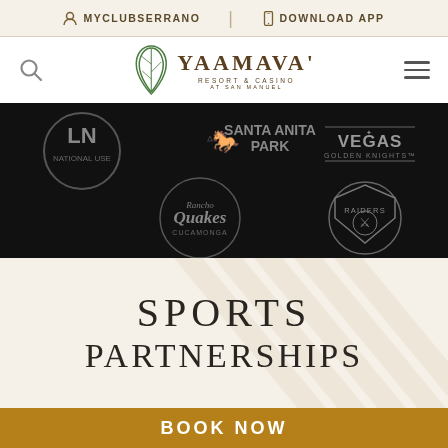MYCLUBSERRANO | DOWNLOAD APP
[Figure (logo): Yaamava Resort & Casino at San Manuel logo with green leaf icon]
[Figure (photo): Black banner showing sports partner logos including LAFC, Santa Anita Park, Vegas Golden Knights, Rancho Cucamonga Quakes, and Las Vegas Raiders]
SPORTS PARTNERSHIPS
BOOK NOW